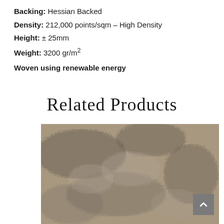Backing: Hessian Backed
Density: 212,000 points/sqm – High Density
Height: ± 25mm
Weight: 3200 gr/m²
Woven using renewable energy
Related Products
[Figure (photo): Close-up texture photo of a shaggy taupe/brown rug with fluffy, irregular fibers showing depth and shadow variations.]